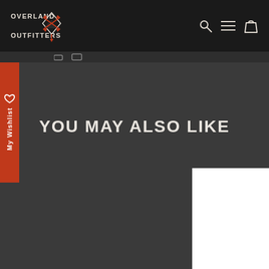OVERLAND OUTFITTERS
YOU MAY ALSO LIKE